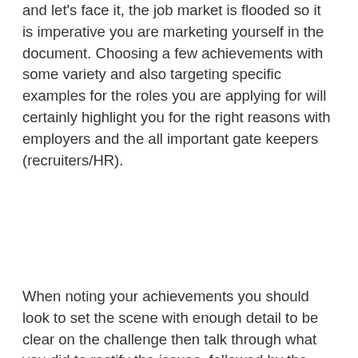and let's face it, the job market is flooded so it is imperative you are marketing yourself in the document. Choosing a few achievements with some variety and also targeting specific examples for the roles you are applying for will certainly highlight you for the right reasons with employers and the all important gate keepers (recruiters/HR).
When noting your achievements you should look to set the scene with enough detail to be clear on the challenge then talk through what you did to rectify the issues, followed by the